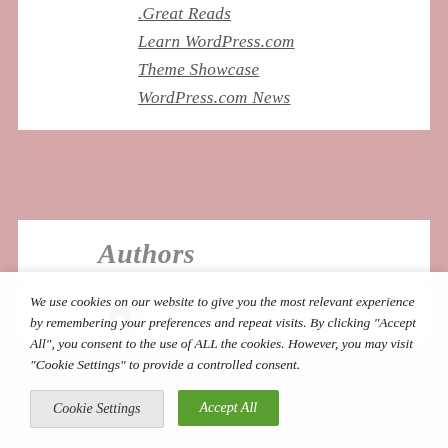.Great Reads
Learn WordPress.com
Theme Showcase
WordPress.com News
Authors
[Figure (photo): Avatar image of a person with dark hair]
We use cookies on our website to give you the most relevant experience by remembering your preferences and repeat visits. By clicking "Accept All", you consent to the use of ALL the cookies. However, you may visit "Cookie Settings" to provide a controlled consent.
Cookie Settings | Accept All